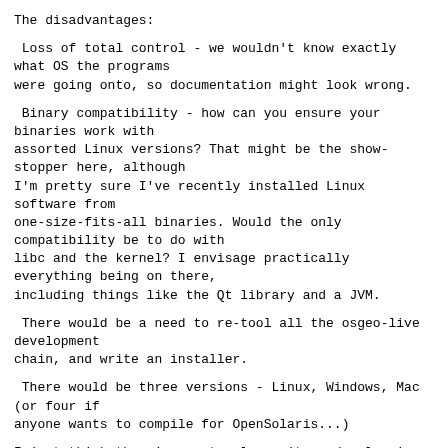The disadvantages:
Loss of total control - we wouldn't know exactly what OS the programs
were going onto, so documentation might look wrong.
Binary compatibility - how can you ensure your binaries work with
assorted Linux versions? That might be the show-stopper here, although
I'm pretty sure I've recently installed Linux software from
one-size-fits-all binaries. Would the only compatibility be to do with
libc and the kernel? I envisage practically everything being on there,
including things like the Qt library and a JVM.
There would be a need to re-tool all the osgeo-live development
chain, and write an installer.
There would be three versions - Linux, Windows, Mac (or four if
anyone wants to compile for OpenSolaris...)
I just think there's greater longevity and value in the distribution
of a collection of ready-to-run, run-anywhere packages
than of the...